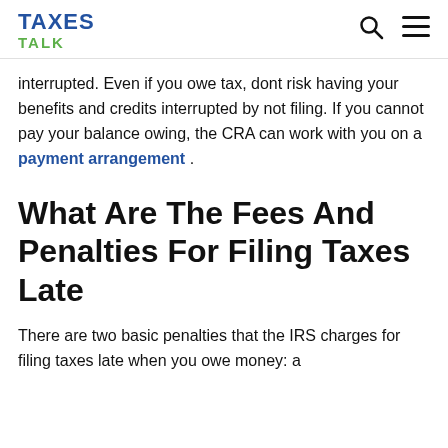TAXES TALK
interrupted. Even if you owe tax, dont risk having your benefits and credits interrupted by not filing. If you cannot pay your balance owing, the CRA can work with you on a payment arrangement .
What Are The Fees And Penalties For Filing Taxes Late
There are two basic penalties that the IRS charges for filing taxes late when you owe money: a